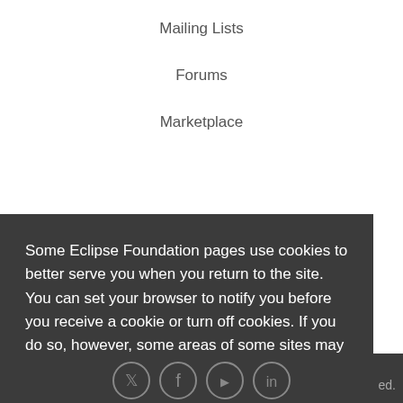Mailing Lists
Forums
Marketplace
Some Eclipse Foundation pages use cookies to better serve you when you return to the site. You can set your browser to notify you before you receive a cookie or turn off cookies. If you do so, however, some areas of some sites may not function properly. To read Eclipse Foundation Privacy Policy click here.
Decline
Allow cookies
ed.